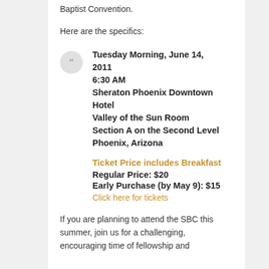Baptist Convention.
Here are the specifics:
Tuesday Morning, June 14, 2011
6:30 AM
Sheraton Phoenix Downtown Hotel
Valley of the Sun Room
Section A on the Second Level
Phoenix, Arizona
Ticket Price includes Breakfast
Regular Price: $20
Early Purchase (by May 9): $15
Click here for tickets
If you are planning to attend the SBC this summer, join us for a challenging, encouraging time of fellowship and